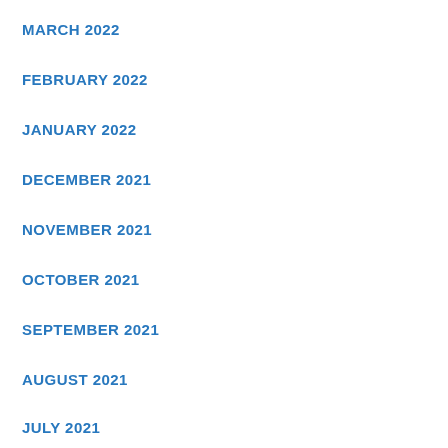MARCH 2022
FEBRUARY 2022
JANUARY 2022
DECEMBER 2021
NOVEMBER 2021
OCTOBER 2021
SEPTEMBER 2021
AUGUST 2021
JULY 2021